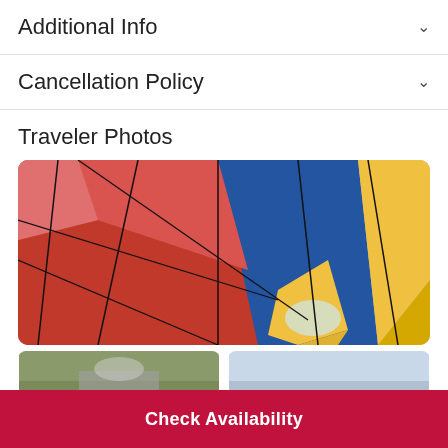Additional Info
Cancellation Policy
Traveler Photos
[Figure (photo): Close-up view of a colorful hot air balloon fabric in red/pink, blue, and yellow panels with black cord lines, shot from below looking up into the balloon interior.]
[Figure (photo): Thumbnail photo showing ground level view with a vehicle, partial outdoor scene.]
[Figure (photo): Thumbnail photo showing a light/sky scene, partially visible.]
Check Availability